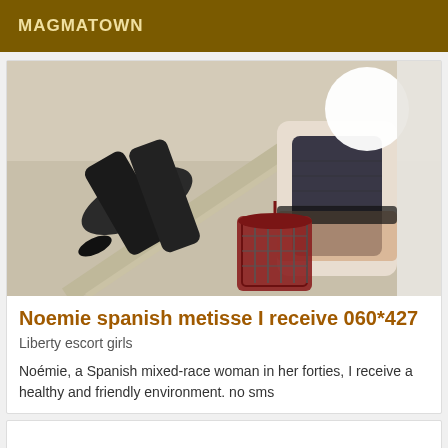MAGMATOWN
[Figure (photo): A person posing in lingerie with a birdcage prop, face obscured by a white circle]
Noemie spanish metisse I receive 060*427
Liberty escort girls
Noémie, a Spanish mixed-race woman in her forties, I receive a healthy and friendly environment. no sms